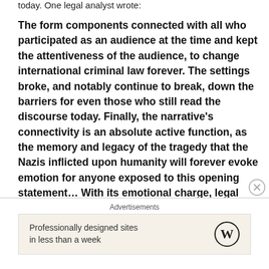today. One legal analyst wrote:
The form components connected with all who participated as an audience at the time and kept the attentiveness of the audience, to change international criminal law forever. The settings broke, and notably continue to break, down the barriers for even those who still read the discourse today. Finally, the narrative's connectivity is an absolute active function, as the memory and legacy of the tragedy that the Nazis inflicted upon humanity will forever evoke emotion for anyone exposed to this opening statement… With its emotional charge, legal rationale, and human viewpoint, it cannot be denied that this
Advertisements
Professionally designed sites in less than a week